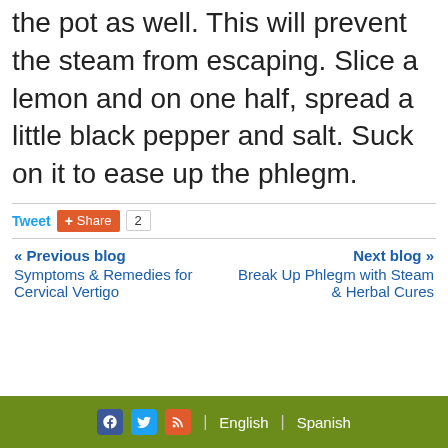the pot as well. This will prevent the steam from escaping. Slice a lemon and on one half, spread a little black pepper and salt. Suck on it to ease up the phlegm.
Tweet | Share 2
« Previous blog
Symptoms & Remedies for Cervical Vertigo
Next blog »
Break Up Phlegm with Steam & Herbal Cures
| English | Spanish